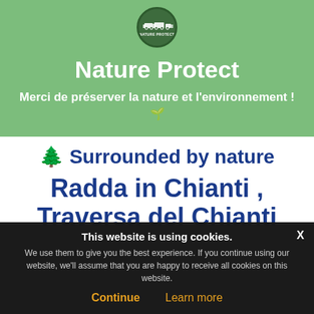[Figure (logo): Nature Protect circular logo with camping vehicle icons on dark green background]
Nature Protect
Merci de préserver la nature et l'environnement ! 🌱
🌲 Surrounded by nature
Radda in Chianti , Traversa del Chianti
This website is using cookies.
We use them to give you the best experience. If you continue using our website, we'll assume that you are happy to receive all cookies on this website.
Continue   Learn more